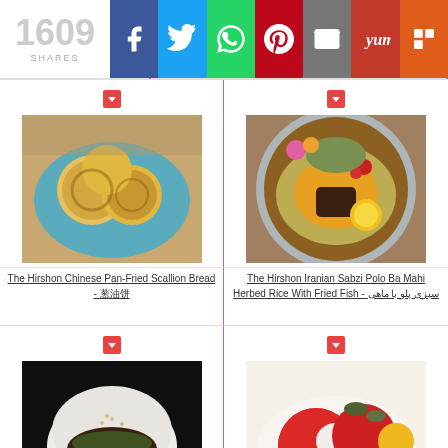1609 SHARES
[Figure (photo): Food photo: Chinese pan-fried scallion bread in a blue ceramic dish]
The Hirshon Chinese Pan-Fried Scallion Bread - 葱油饼
[Figure (photo): Food photo: Iranian Sabzi Polo Ba Mahi herbed rice with fried fish in a decorative bowl]
The Hirshon Iranian Sabzi Polo Ba Mahi Herbed Rice With Fried Fish - سبزی پلو با ماهی
[Figure (photo): Food photo: Bao bun sandwich with pork and greens on black background]
[Figure (photo): Food photo: Red round fried balls (possibly coxinha or similar) on a white plate]